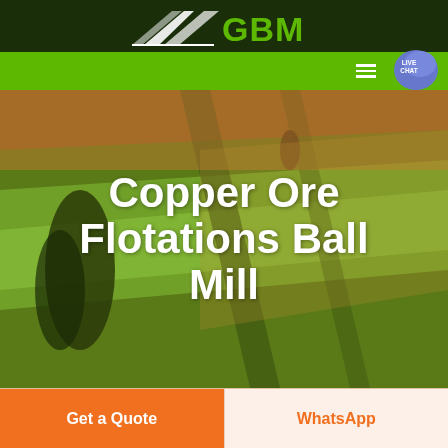[Figure (logo): GBM company logo with white arrow/chevron graphic on dark green background and green GBM text]
[Figure (screenshot): Website screenshot showing a green navigation bar with hamburger menu icon and live chat bubble icon on the right]
Copper Ore Flotations Ball Mill
[Figure (photo): Aerial photo of rolling agricultural fields with green and golden tones, trees visible]
Get a Quote
WhatsApp